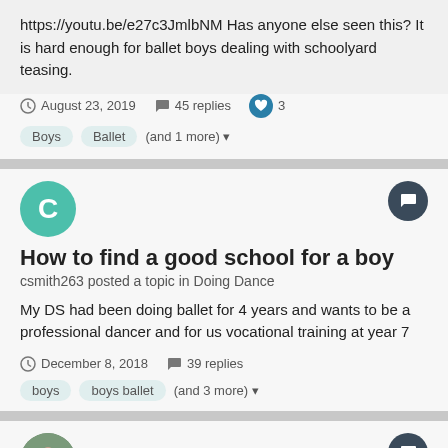https://youtu.be/e27c3JmlbNM Has anyone else seen this? It is hard enough for ballet boys dealing with schoolyard teasing.
August 23, 2019 · 45 replies · 3
Boys
Ballet
(and 1 more)
How to find a good school for a boy
csmith263 posted a topic in Doing Dance
My DS had been doing ballet for 4 years and wants to be a professional dancer and for us vocational training at year 7
December 8, 2018 · 39 replies
boys
boys ballet
(and 3 more)